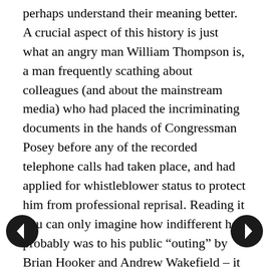perhaps understand their meaning better. A crucial aspect of this history is just what an angry man William Thompson is, a man frequently scathing about colleagues (and about the mainstream media) who had placed the incriminating documents in the hands of Congressman Posey before any of the recorded telephone calls had taken place, and had applied for whistleblower status to protect him from professional reprisal. Reading it you can only imagine how indifferent he probably was to his public “outing” by Brian Hooker and Andrew Wakefield – it would come sooner or later. It might have waited more than a year with Bill Posey despairing of any help from his political colleagues making an end of term speech in